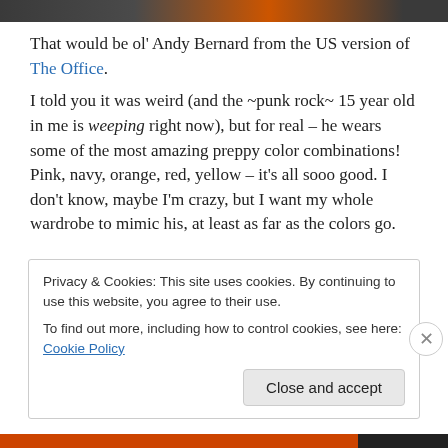[Figure (photo): Top cropped photo strip showing a person wearing an orange top against a dark background]
That would be ol' Andy Bernard from the US version of The Office. I told you it was weird (and the ~punk rock~ 15 year old in me is weeping right now), but for real – he wears some of the most amazing preppy color combinations! Pink, navy, orange, red, yellow – it's all sooo good. I don't know, maybe I'm crazy, but I want my whole wardrobe to mimic his, at least as far as the colors go.
Privacy & Cookies: This site uses cookies. By continuing to use this website, you agree to their use. To find out more, including how to control cookies, see here: Cookie Policy
[Figure (photo): Bottom strip showing a colorful bar with orange and dark colors]